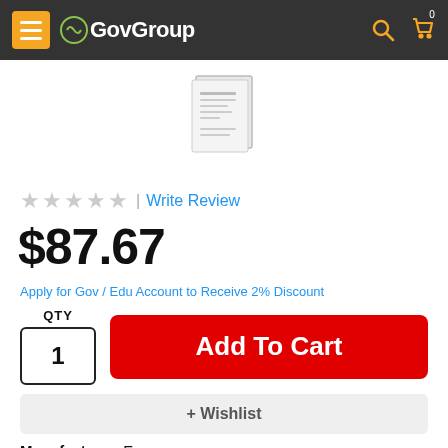GovGroup
[Figure (photo): Product image of a document/label sheet, shown partially cropped at top of page]
☆☆☆☆☆ | Write Review
$87.67
Apply for Gov / Edu Account to Receive 2% Discount
QTY 1
Add To Cart
+ Wishlist
Manufacturer: Epson